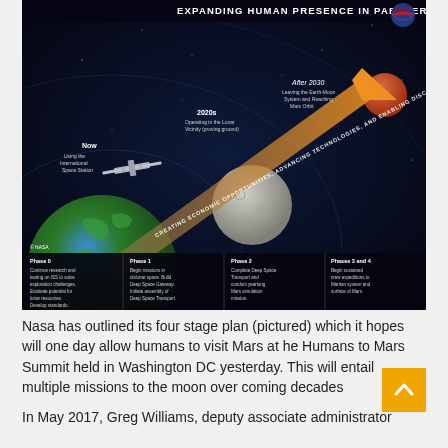[Figure (infographic): NASA infographic titled 'EXPANDING HUMAN PRESENCE IN PARTNERSHIP' showing a four-phase plan from the International Space Station (Now) through 2020s lunar vicinity operations to After 2030s Mars orbit. Features Earth, Moon, Mars, ISS illustration, an orange arrow pointing to Mars, and a diagonal banner reading 'CREATING ECONOMIC OPPORTUNITIES, ADVANCING TECHNOLOGIES, AND ENABLING DISCOVERY'. Bottom section shows four phases: Phase 0 (continue research on ISS), Phase 1 (begin missions in cislunar space, Build Deep Space Gateway), Phase 2 (Complete Deep Space Transport, yearlong Mars simulation mission), Phases 3 and 4 (sustained crew expeditions to Martian system and Mars surface).]
Nasa has outlined its four stage plan (pictured) which it hopes will one day allow humans to visit Mars at he Humans to Mars Summit held in Washington DC yesterday. This will entail multiple missions to the moon over coming decades
In May 2017, Greg Williams, deputy associate administrator